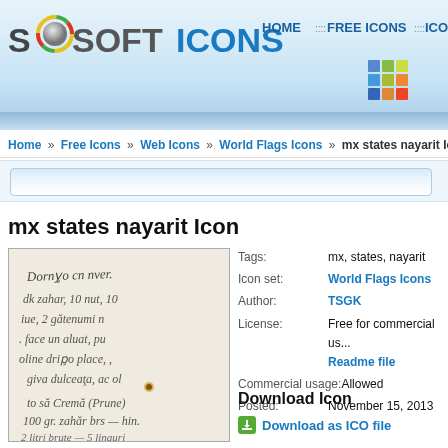[Figure (screenshot): Softicons website header with logo showing 'SOFTICONS' text with a ball icon and colorful ring, navigation links HOME, FREE ICONS, ICON T, and a colorful grid icon in the top right corner. Blue gradient background.]
Home » Free Icons » Web Icons » World Flags Icons » mx states nayarit Icon
[Figure (screenshot): Search input bar with light blue gradient background]
mx states nayarit Icon
[Figure (photo): Preview of the mx states nayarit icon showing handwritten text on aged paper background]
| Label | Value |
| --- | --- |
| Tags: | mx, states, nayarit |
| Icon set: | World Flags Icons |
| Author: | TSGK |
| License: | Free for commercial us... Readme file |
| Commercial usage: | Allowed |
| Posted: | November 15, 2013 |
Download Icon
Download as ICO file